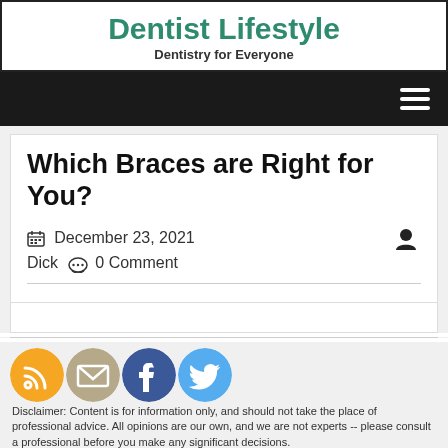Dentist Lifestyle
Dentistry for Everyone
Which Braces are Right for You?
December 23, 2021  Dick  0 Comment
Disclaimer: Content is for information only, and should not take the place of professional advice. All opinions are our own, and we are not experts -- please consult a professional before you make any significant decisions.